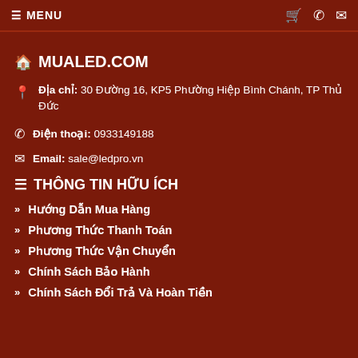☰ MENU  🛒 📞 ✉
🏠 MUALED.COM
Địa chỉ: 30 Đường 16, KP5 Phường Hiệp Bình Chánh, TP Thủ Đức
Điện thoại: 0933149188
Email: sale@ledpro.vn
☰ THÔNG TIN HỮU ÍCH
» Hướng Dẫn Mua Hàng
» Phương Thức Thanh Toán
» Phương Thức Vận Chuyển
» Chính Sách Bảo Hành
» Chính Sách Đổi Trả Và Hoàn Tiền